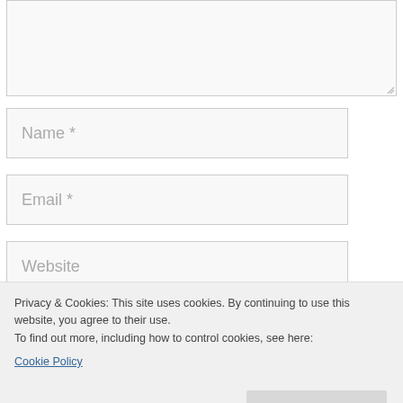[Figure (screenshot): Textarea form field (empty, light gray background)]
Name *
Email *
Website
Privacy & Cookies: This site uses cookies. By continuing to use this website, you agree to their use.
To find out more, including how to control cookies, see here:
Cookie Policy
Close and accept
This site uses Akismet to reduce spam. Learn